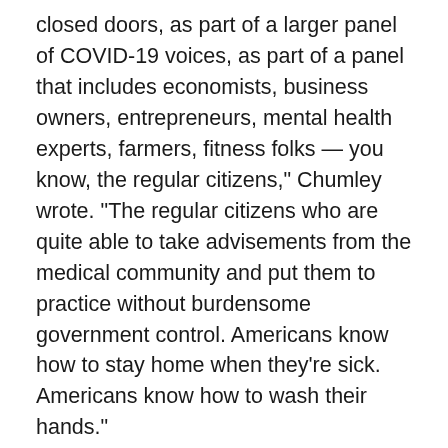closed doors, as part of a larger panel of COVID-19 voices, as part of a panel that includes economists, business owners, entrepreneurs, mental health experts, farmers, fitness folks — you know, the regular citizens," Chumley wrote. "The regular citizens who are quite able to take advisements from the medical community and put them to practice without burdensome government control. Americans know how to stay home when they're sick. Americans know how to wash their hands."
And that opens to Fact Number Three:
• Fauci, on COVID-19, really doesn't know. He doesn't know all. No scientist does. He's just guessing, like all the scientists and medical experts.
“We need to stop treating Fauci like he's omniscient,” Chumley wrote.